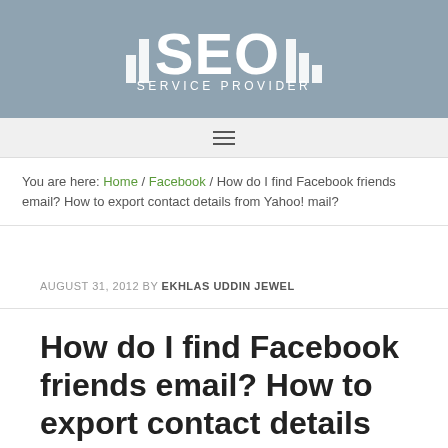[Figure (logo): SEO Service Provider logo with bar chart icon on grey-blue background]
≡ (navigation menu icon)
You are here: Home / Facebook / How do I find Facebook friends email? How to export contact details from Yahoo! mail?
AUGUST 31, 2012 BY EKHLAS UDDIN JEWEL
How do I find Facebook friends email? How to export contact details from Yahoo! mail?